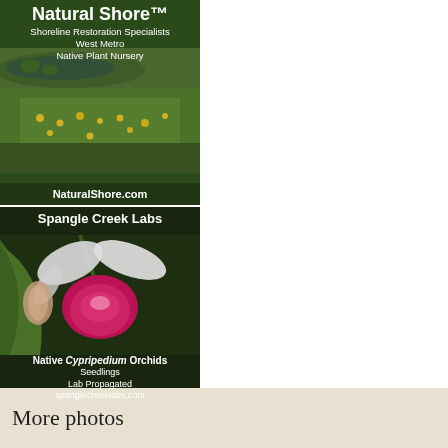[Figure (photo): Natural Shore advertisement with shoreline/native plant nursery scene showing wetland with yellow flowers and green vegetation. White text overlay: Natural Shore™, Shoreline Restoration Specialists, West Metro Native Plant Nursery, NaturalShore.com]
[Figure (photo): Spangle Creek Labs advertisement showing a pink Cypripedium orchid flower close-up with green leaves. White text overlay: Spangle Creek Labs, Native Cypripedium Orchids, Seedlings, Lab Propagated, spanglecreeklabs.com]
More photos